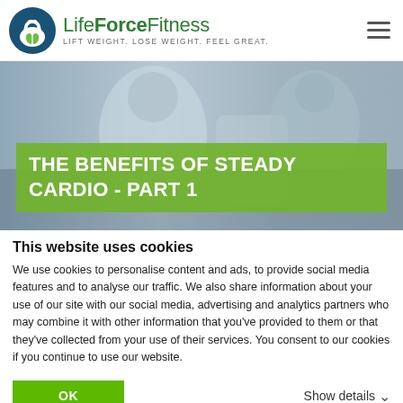LifeForceFitness – LIFT WEIGHT. LOSE WEIGHT. FEEL GREAT.
[Figure (photo): Person doing cardio exercise, hero background image with green overlay title box reading 'THE BENEFITS OF STEADY CARDIO - PART 1']
THE BENEFITS OF STEADY CARDIO - PART 1
This website uses cookies
We use cookies to personalise content and ads, to provide social media features and to analyse our traffic. We also share information about your use of our site with our social media, advertising and analytics partners who may combine it with other information that you've provided to them or that they've collected from your use of their services. You consent to our cookies if you continue to use our website.
OK    Show details